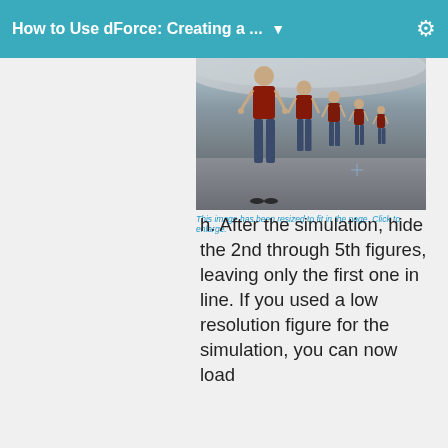How to Use dForce: Creating a ...
[Figure (illustration): Five 3D walking figures wearing dark red shirts and jeans, arranged in a line receding into the distance on a gray sandy surface, with a white/gray terrain feature visible at the top.]
This image has been resized to fit in the page. Click to enlarge.
h. After the simulation, hide the 2nd through 5th figures, leaving only the first one in line. If you used a low resolution figure for the simulation, you can now load